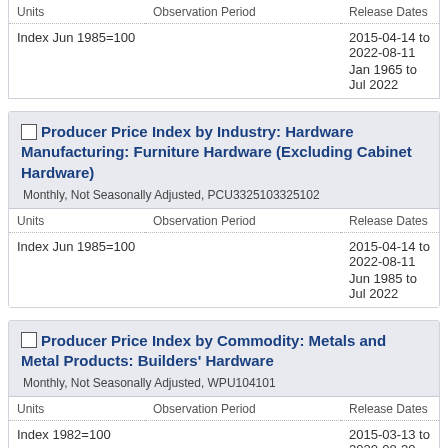| Units | Observation Period | Release Dates |
| --- | --- | --- |
| Index Jun 1985=100 |  | 2015-04-14 to 2022-08-11
Jan 1965 to Jul 2022 |
Producer Price Index by Industry: Hardware Manufacturing: Furniture Hardware (Excluding Cabinet Hardware)
Monthly, Not Seasonally Adjusted, PCU3325103325102
| Units | Observation Period | Release Dates |
| --- | --- | --- |
| Index Jun 1985=100 |  | 2015-04-14 to 2022-08-11
Jun 1985 to Jul 2022 |
Producer Price Index by Commodity: Metals and Metal Products: Builders' Hardware
Monthly, Not Seasonally Adjusted, WPU104101
| Units | Observation Period | Release Dates |
| --- | --- | --- |
| Index 1982=100 |  | 2015-03-13 to 2020-08-30
Dec 1962 to Jul 2020 |
| Index 1982=100 |  | 2020-08-31 to 2022-08-11 |